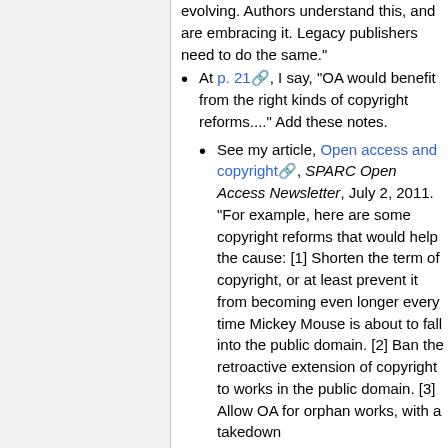evolving. Authors understand this, and are embracing it. Legacy publishers need to do the same."
At p. 21, I say, "OA would benefit from the right kinds of copyright reforms...." Add these notes.
See my article, Open access and copyright, SPARC Open Access Newsletter, July 2, 2011. "For example, here are some copyright reforms that would help the cause: [1] Shorten the term of copyright, or at least prevent it from becoming even longer every time Mickey Mouse is about to fall into the public domain. [2] Ban the retroactive extension of copyright to works in the public domain. [3] Allow OA for orphan works, with a takedown